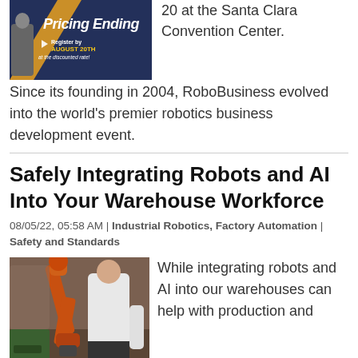[Figure (photo): Event promotional image with text 'Pricing Ending' and 'Register by August 20th at the discounted rate!' on a dark blue/navy background with orange accent]
20 at the Santa Clara Convention Center. Since its founding in 2004, RoboBusiness evolved into the world's premier robotics business development event.
Safely Integrating Robots and AI Into Your Warehouse Workforce
08/05/22, 05:58 AM | Industrial Robotics, Factory Automation | Safety and Standards
[Figure (photo): A person operating or examining an industrial orange robotic arm in a warehouse/factory setting]
While integrating robots and AI into our warehouses can help with production and quality assurance, care must be taken when this